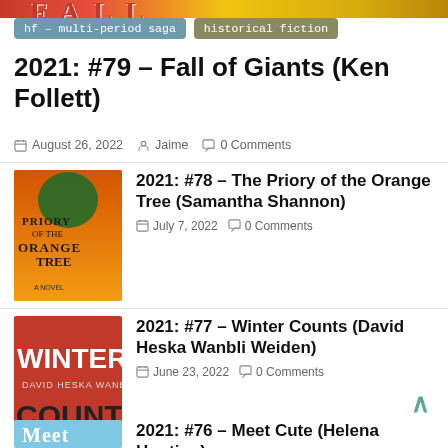[Figure (other): Partial book cover image for Fall of Giants at top of page, cropped]
Tags: hf - multi-period saga, historical fiction
2021: #79 – Fall of Giants (Ken Follett)
August 26, 2022   Jaime   0 Comments
[Figure (photo): Book cover: Priory of the Orange Tree by Samantha Shannon – orange and gold cover with snake and castle]
2021: #78 – The Priory of the Orange Tree (Samantha Shannon)
July 7, 2022   0 Comments
[Figure (photo): Book cover: Winter Counts by David Heska Wanbli Weiden – red cover with large white text]
2021: #77 – Winter Counts (David Heska Wanbli Weiden)
June 23, 2022   0 Comments
[Figure (photo): Book cover: Meet Cute by Helena Hunting – blue cover with cartoon characters]
2021: #76 – Meet Cute (Helena Hunting)
June 22, 2022   0 Comments